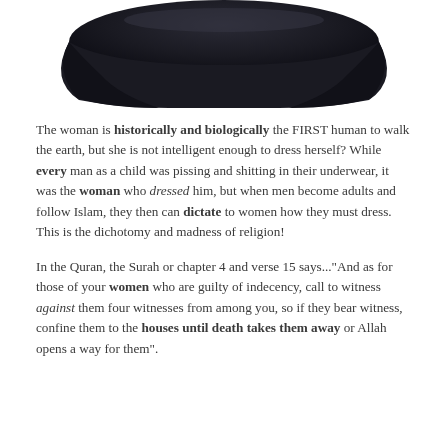[Figure (photo): A dark navy/black fabric head covering (hijab or scarf) photographed against a white background, showing the draped fabric shape.]
The woman is historically and biologically the FIRST human to walk the earth, but she is not intelligent enough to dress herself? While every man as a child was pissing and shitting in their underwear, it was the woman who dressed him, but when men become adults and follow Islam, they then can dictate to women how they must dress. This is the dichotomy and madness of religion!
In the Quran, the Surah or chapter 4 and verse 15 says..."And as for those of your women who are guilty of indecency, call to witness against them four witnesses from among you, so if they bear witness, confine them to the houses until death takes them away or Allah opens a way for them".